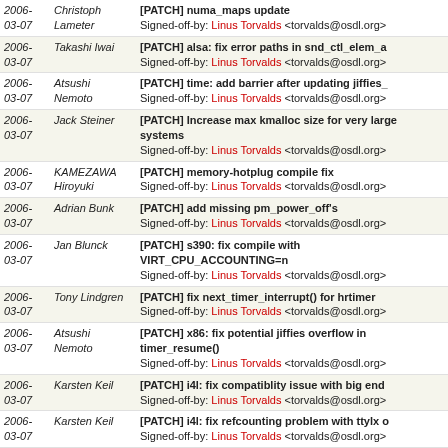| Date | Author | Message |
| --- | --- | --- |
| 2006-03-07 | Christoph Lameter | [PATCH] numa_maps update
Signed-off-by: Linus Torvalds <torvalds@osdl.org> |
| 2006-03-07 | Takashi Iwai | [PATCH] alsa: fix error paths in snd_ctl_elem_a
Signed-off-by: Linus Torvalds <torvalds@osdl.org> |
| 2006-03-07 | Atsushi Nemoto | [PATCH] time: add barrier after updating jiffies_
Signed-off-by: Linus Torvalds <torvalds@osdl.org> |
| 2006-03-07 | Jack Steiner | [PATCH] Increase max kmalloc size for very large systems
Signed-off-by: Linus Torvalds <torvalds@osdl.org> |
| 2006-03-07 | KAMEZAWA Hiroyuki | [PATCH] memory-hotplug compile fix
Signed-off-by: Linus Torvalds <torvalds@osdl.org> |
| 2006-03-07 | Adrian Bunk | [PATCH] add missing pm_power_off's
Signed-off-by: Linus Torvalds <torvalds@osdl.org> |
| 2006-03-07 | Jan Blunck | [PATCH] s390: fix compile with VIRT_CPU_ACCOUNTING=n
Signed-off-by: Linus Torvalds <torvalds@osdl.org> |
| 2006-03-07 | Tony Lindgren | [PATCH] fix next_timer_interrupt() for hrtimer
Signed-off-by: Linus Torvalds <torvalds@osdl.org> |
| 2006-03-07 | Atsushi Nemoto | [PATCH] x86: fix potential jiffies overflow in timer_resume()
Signed-off-by: Linus Torvalds <torvalds@osdl.org> |
| 2006-03-07 | Karsten Keil | [PATCH] i4l: fix compatiblity issue with big end
Signed-off-by: Linus Torvalds <torvalds@osdl.org> |
| 2006-03-07 | Karsten Keil | [PATCH] i4l: fix refcounting problem with ttylx o
Signed-off-by: Linus Torvalds <torvalds@osdl.org> |
| 2006-03-07 | Karsten Keil | [PATCH] i4l: add new PCI IDs for HFC-S PCI
Signed-off-by: Linus Torvalds <torvalds@osdl.org> |